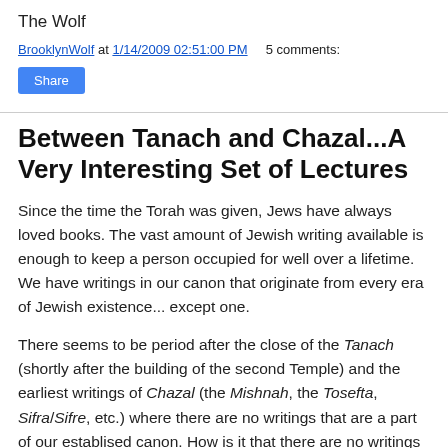The Wolf
BrooklynWolf at 1/14/2009 02:51:00 PM    5 comments:
Share
Between Tanach and Chazal...A Very Interesting Set of Lectures
Since the time the Torah was given, Jews have always loved books. The vast amount of Jewish writing available is enough to keep a person occupied for well over a lifetime. We have writings in our canon that originate from every era of Jewish existence... except one.
There seems to be period after the close of the Tanach (shortly after the building of the second Temple) and the earliest writings of Chazal (the Mishnah, the Tosefta, Sifra/Sifre, etc.) where there are no writings that are a part of our establised canon. How is it that there are no writings from this period? Did the Jews of the time period just stop